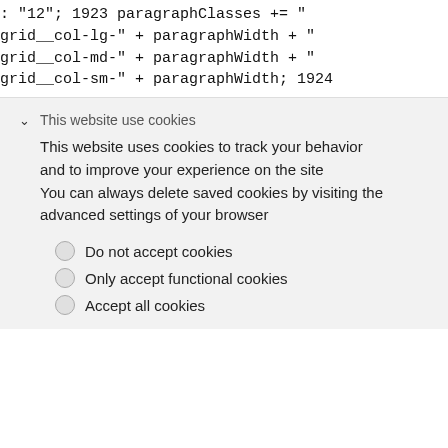: "12"; 1923 paragraphClasses += "
grid__col-lg-" + paragraphWidth + "
grid__col-md-" + paragraphWidth + "
grid__col-sm-" + paragraphWidth; 1924
This website use cookies
This website uses cookies to track your behavior and to improve your experience on the site You can always delete saved cookies by visiting the advanced settings of your browser
Do not accept cookies
Only accept functional cookies
Accept all cookies